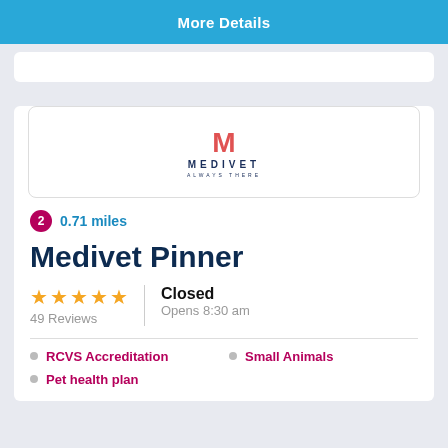More Details
[Figure (logo): Medivet logo with red M icon and navy MEDIVET ALWAYS THERE text]
2  0.71 miles
Medivet Pinner
★★★★★  49 Reviews  |  Closed  Opens 8:30 am
RCVS Accreditation
Small Animals
Pet health plan